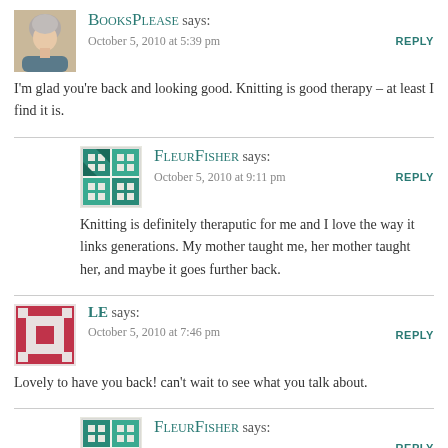BooksPlease says: October 5, 2010 at 5:39 pm
I'm glad you're back and looking good. Knitting is good therapy – at least I find it is.
FleurFisher says: October 5, 2010 at 9:11 pm
Knitting is definitely theraputic for me and I love the way it links generations. My mother taught me, her mother taught her, and maybe it goes further back.
LE says: October 5, 2010 at 7:46 pm
Lovely to have you back! can't wait to see what you talk about.
FleurFisher says: